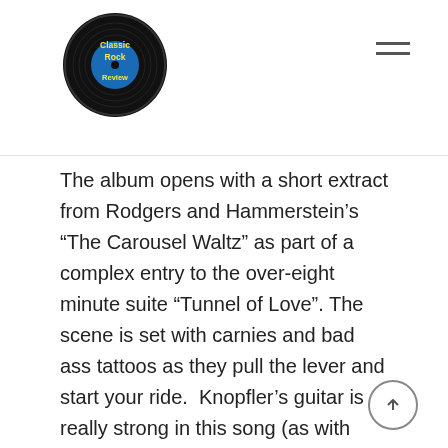Classic Rock Review
The album opens with a short extract from Rodgers and Hammerstein's “The Carousel Waltz” as part of a complex entry to the over-eight minute suite “Tunnel of Love”. The scene is set with carnies and bad ass tattoos as they pull the lever and start your ride.  Knopfler’s guitar is really strong in this song (as with most of the album) and after the unique introduction the song is pretty steady for for the verses and choruses until it really starts to get creative starting with the pre-solo section where it pauses for choppy rudiments and several drum fills by Pick Withers. Later it completely breaks down in Springsteen-like fashion